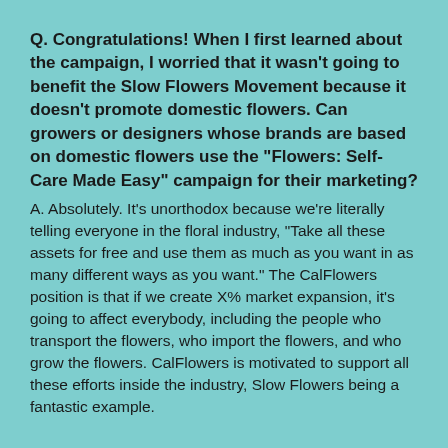Q. Congratulations! When I first learned about the campaign, I worried that it wasn't going to benefit the Slow Flowers Movement because it doesn't promote domestic flowers. Can growers or designers whose brands are based on domestic flowers use the "Flowers: Self-Care Made Easy" campaign for their marketing?
A. Absolutely. It's unorthodox because we're literally telling everyone in the floral industry, "Take all these assets for free and use them as much as you want in as many different ways as you want." The CalFlowers position is that if we create X% market expansion, it's going to affect everybody, including the people who transport the flowers, who import the flowers, and who grow the flowers. CalFlowers is motivated to support all these efforts inside the industry, Slow Flowers being a fantastic example.